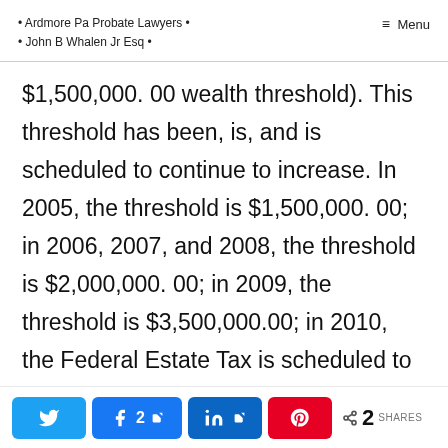• Ardmore Pa Probate Lawyers • • John B Whalen Jr Esq • ≡ Menu
$1,500,000. 00 wealth threshold). This threshold has been, is, and is scheduled to continue to increase. In 2005, the threshold is $1,500,000. 00; in 2006, 2007, and 2008, the threshold is $2,000,000. 00; in 2009, the threshold is $3,500,000.00; in 2010, the Federal Estate Tax is scheduled to be eliminated; but in 2011, the Federal Estate Tax is scheduled to